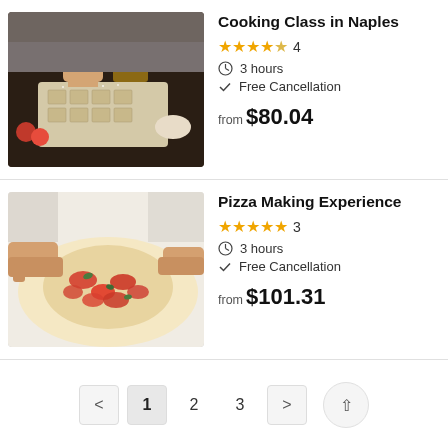[Figure (photo): Person in brown apron sprinkling flour over pasta dough on a dark table with tomatoes and bowl in background]
Cooking Class in Naples
★★★★½ 4
⏱ 3 hours
✓ Free Cancellation
from $80.04
[Figure (photo): Hands shaping pizza dough topped with tomatoes and herbs on a white surface]
Pizza Making Experience
★★★★★ 3
⏱ 3 hours
✓ Free Cancellation
from $101.31
< 1 2 3 >